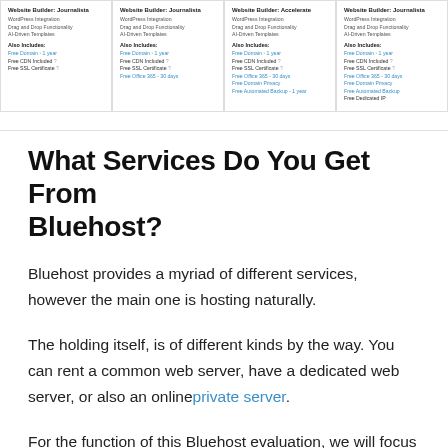[Figure (screenshot): Screenshot of four website builder plan cards (Basic, Plus, Choice Plus, Pro) showing features like WordPress Integration, Drag and Drop Functionality, AI-Driven Templates, and included extras such as Free Domain, Free CDN, Free SSL Certificate, Free Office 365, Free Domain Privacy, Free Automated Backup, Free Dedicated IP.]
What Services Do You Get From Bluehost?
Bluehost provides a myriad of different services, however the main one is hosting naturally.
The holding itself, is of different kinds by the way. You can rent a common web server, have a dedicated web server, or also an online private server.
For the function of this Bluehost evaluation, we will focus on holding solutions and also other solutions, that a blog owner or an